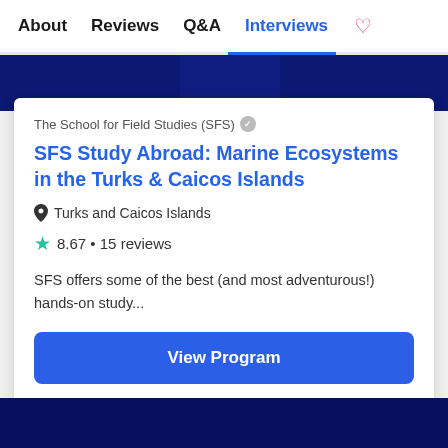About   Reviews   Q&A   Interviews
The School for Field Studies (SFS)
SFS Study Abroad: Marine Ecosystems in the Turks & Caicos Islands
Turks and Caicos Islands
8.67 • 15 reviews
SFS offers some of the best (and most adventurous!) hands-on study...
View Program